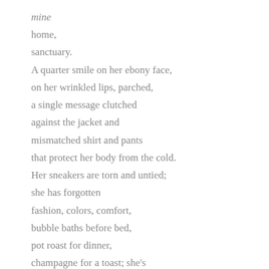mine
home,
sanctuary.
A quarter smile on her ebony face,
on her wrinkled lips, parched,
a single message clutched
against the jacket and
mismatched shirt and pants
that protect her body from the cold.
Her sneakers are torn and untied;
she has forgotten
fashion, colors, comfort,
bubble baths before bed,
pot roast for dinner,
champagne for a toast; she's
weary

sluggish

disheveled